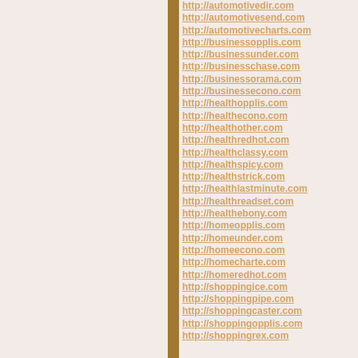http://automotivedir.com
http://automotivesend.com
http://automotivecharts.com
http://businessopplis.com
http://businessunder.com
http://businesschase.com
http://businessorama.com
http://businessecono.com
http://healthopplis.com
http://healthecono.com
http://healthother.com
http://healthredhot.com
http://healthclassy.com
http://healthspicy.com
http://healthstrick.com
http://healthlastminute.com
http://healthreadset.com
http://healthebony.com
http://homeopplis.com
http://homeunder.com
http://homeecono.com
http://homecharte.com
http://homeredhot.com
http://shoppingice.com
http://shoppingpipe.com
http://shoppingcaster.com
http://shoppingopplis.com
http://shoppingrex.com